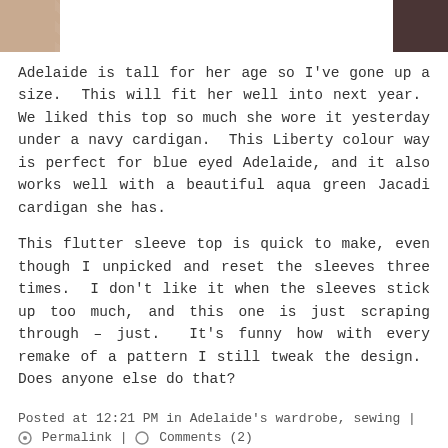[Figure (photo): Partial photo of a person wearing a floral patterned top, cropped at the top of the page]
Adelaide is tall for her age so I've gone up a size.  This will fit her well into next year.  We liked this top so much she wore it yesterday under a navy cardigan.  This Liberty colour way is perfect for blue eyed Adelaide, and it also works well with a beautiful aqua green Jacadi cardigan she has.
This flutter sleeve top is quick to make, even though I unpicked and reset the sleeves three times.  I don't like it when the sleeves stick up too much, and this one is just scraping through – just.  It's funny how with every remake of a pattern I still tweak the design.  Does anyone else do that?
Posted at 12:21 PM in Adelaide's wardrobe, sewing | Permalink | Comments (2)